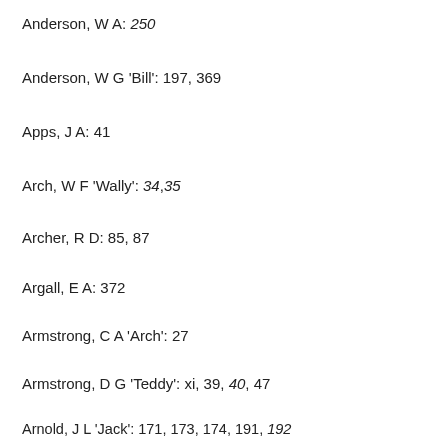Anderson, W A: 250
Anderson, W G 'Bill': 197, 369
Apps, J A: 41
Arch, W F 'Wally': 34, 35
Archer, R D: 85, 87
Argall, E A: 372
Armstrong, C A 'Arch': 27
Armstrong, D G 'Teddy': xi, 39, 40, 47
Arnold, J L 'Jack': 171, 173, 174, 191, 192
Arthur, W H 'Bill': vi, xi, xiv, 142, 162, 163, 164, 165,
167, 172, 177, 178, 180, 188, 334, 348, 361, 363,